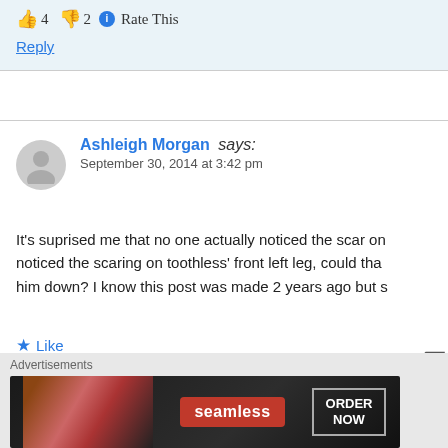👍 4 👎 2 ℹ Rate This
Reply
Ashleigh Morgan says: September 30, 2014 at 3:42 pm
It's suprised me that no one actually noticed the scar on noticed the scaring on toothless' front left leg, could tha him down? I know this post was made 2 years ago but s
★ Like
👍 2 👎 0 ℹ Rate This
Advertisements
[Figure (other): Seamless food delivery advertisement with pizza image, red Seamless logo badge, and ORDER NOW button]